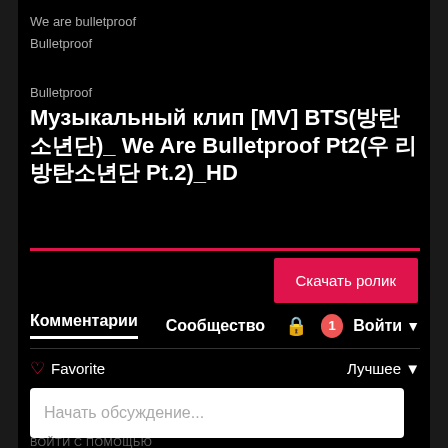We are bulletproof
Bulletproof
Bulletproof
Музыкальный клип [MV] BTS(방탄소년단)_ We Are Bulletproof Pt2(우 리 방탄소년단 Pt.2)_HD
Скачать ролик
Комментарии  Сообщество  🔒  1  Войти ▾
♡ Favorite  |  Лучшее ▾
Начать обсуждение...
войти с помощью
[Figure (infographic): Four social login icons: Disqus (D, blue), Facebook (f, dark blue), Twitter (bird, light blue), Google (G, red)]